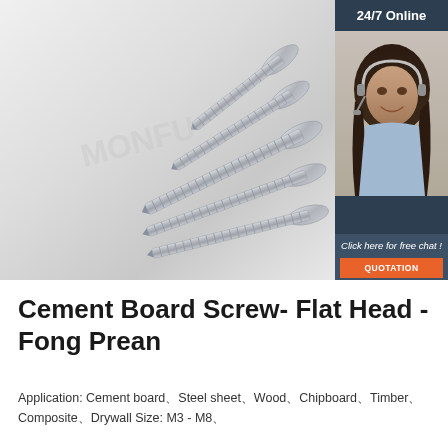[Figure (photo): Multiple stainless steel flat head cement board screws fanned out diagonally on a white background, with watermark text 'MONFU' visible. Overlaid on the right is a 24/7 online chat widget with a photo of a female customer service representative wearing a headset, a 'Click here for free chat!' message, and an orange 'QUOTATION' button.]
Cement Board Screw- Flat Head - Fong Prean
Application: Cement board、Steel sheet、Wood、Chipboard、Timber、Composite、Drywall Size: M3 - M8、